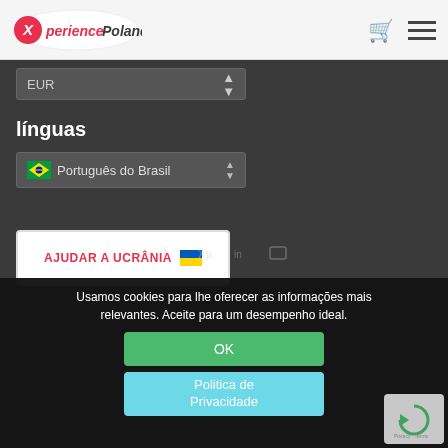[Figure (logo): XperiencePoland logo with red italic text on white oval background, top-left of navbar]
EUR
línguas
🇧🇷 Português do Brasil
AJUDAR A UCRÂNIA 🇺🇦
Usamos cookies para lhe oferecer as informações mais relevantes. Aceite para um desempenho ideal.
OK
Politica de Privacidade